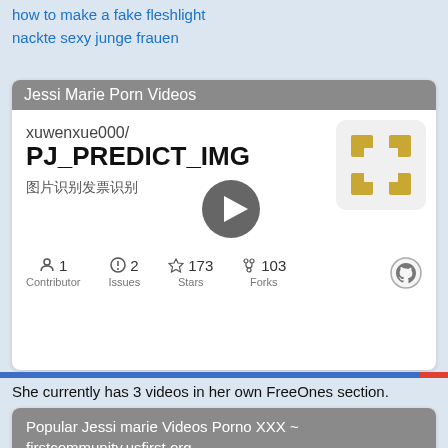how to make a fake fleshlight
nackte sexy junge frauen
[Figure (screenshot): GitHub repository card for xuwenxue000/PJ_PREDICT_IMG with stats: 1 Contributor, 2 Issues, 173 Stars, 103 Forks]
She currently has 3 videos in her own FreeOnes section.
[Figure (screenshot): GitHub repository card for carykh/neuralNetworkLanguage... with description: The first neural network I've ever made to improve]